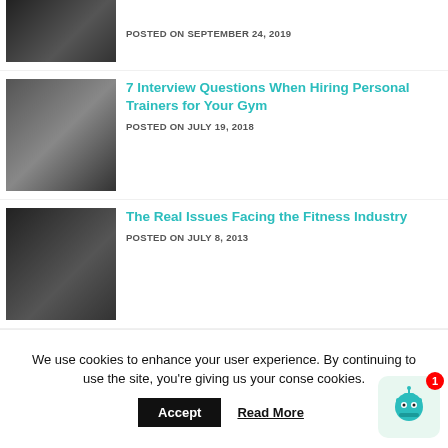[Figure (photo): Partial gym floor image at top]
POSTED ON SEPTEMBER 24, 2019
[Figure (photo): Three women seated, fitness attire]
7 Interview Questions When Hiring Personal Trainers for Your Gym
POSTED ON JULY 19, 2018
[Figure (photo): Man in hoodie with arms crossed against wall]
The Real Issues Facing the Fitness Industry
POSTED ON JULY 8, 2013
[Figure (photo): Sports league players outdoors]
6 Crucial Steps To Starting A Sports League
We use cookies to enhance your user experience. By continuing to use the site, you're giving us your conse cookies.